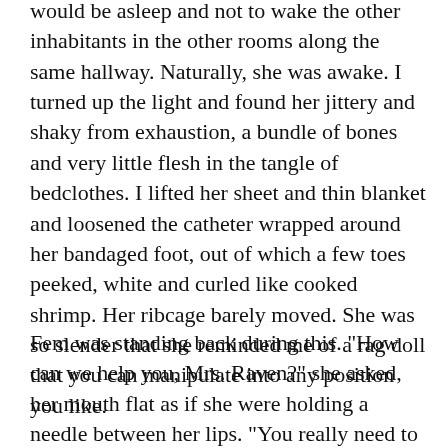would be asleep and not to wake the other inhabitants in the other rooms along the same hallway. Naturally, she was awake. I turned up the light and found her jittery and shaky from exhaustion, a bundle of bones and very little flesh in the tangle of bedclothes. I lifted her sheet and thin blanket and loosened the catheter wrapped around her bandaged foot, out of which a few toes peeked, white and curled like cooked shrimp. Her ribcage barely moved. She was so slender that she reminded me of a rag doll that you can manipulate into any position you like.
Fem was standing back during this. "How can we help you, Mrs. Raven?" she asked, her mouth flat as if she were holding a needle between her lips. "You really need to sleep. Didn't you tell me your son was coming soon to visit? Don't you think you need to be